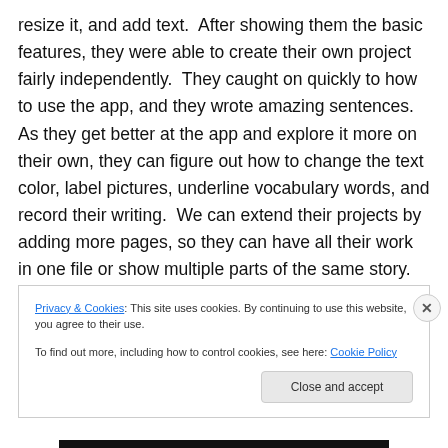resize it, and add text.  After showing them the basic features, they were able to create their own project fairly independently.  They caught on quickly to how to use the app, and they wrote amazing sentences.  As they get better at the app and explore it more on their own, they can figure out how to change the text color, label pictures, underline vocabulary words, and record their writing.  We can extend their projects by adding more pages, so they can have all their work in one file or show multiple parts of the same story.
Privacy & Cookies: This site uses cookies. By continuing to use this website, you agree to their use.
To find out more, including how to control cookies, see here: Cookie Policy